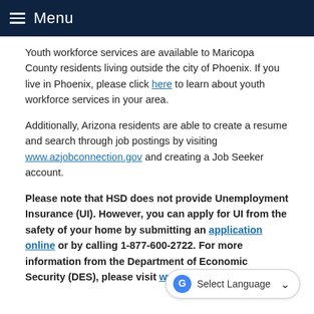Menu
Youth workforce services are available to Maricopa County residents living outside the city of Phoenix. If you live in Phoenix, please click here to learn about youth workforce services in your area.
Additionally, Arizona residents are able to create a resume and search through job postings by visiting www.azjobconnection.gov and creating a Job Seeker account.
Please note that HSD does not provide Unemployment Insurance (UI). However, you can apply for UI from the safety of your home by submitting an application online or by calling 1-877-600-2722. For more information from the Department of Economic Security (DES), please visit www.azui.gov.